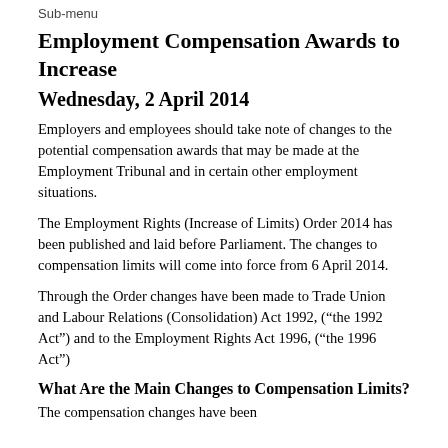Sub-menu
Employment Compensation Awards to Increase
Wednesday, 2 April 2014
Employers and employees should take note of changes to the potential compensation awards that may be made at the Employment Tribunal and in certain other employment situations.
The Employment Rights (Increase of Limits) Order 2014 has been published and laid before Parliament. The changes to compensation limits will come into force from 6 April 2014.
Through the Order changes have been made to Trade Union and Labour Relations (Consolidation) Act 1992, (“the 1992 Act”) and to the Employment Rights Act 1996, (“the 1996 Act”)
What Are the Main Changes to Compensation Limits?
The compensation changes have been...